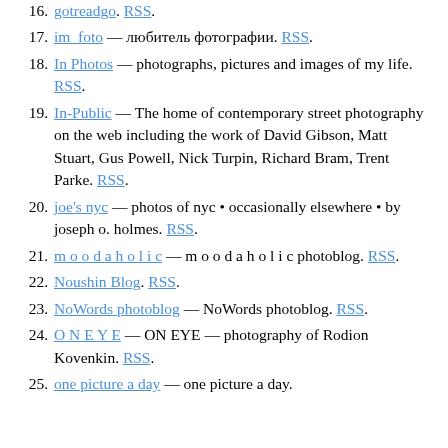16. gotreadgo. RSS.
17. im_foto — любитель фотографии. RSS.
18. In Photos — photographs, pictures and images of my life. RSS.
19. In-Public — The home of contemporary street photography on the web including the work of David Gibson, Matt Stuart, Gus Powell, Nick Turpin, Richard Bram, Trent Parke. RSS.
20. joe's nyc — photos of nyc &bull; occasionally elsewhere &bull; by joseph o. holmes. RSS.
21. m o o d a h o l i c — m o o d a h o l i c photoblog. RSS.
22. Noushin Blog. RSS.
23. NoWords photoblog — NoWords photoblog. RSS.
24. O N E Y E — ON EYE — photography of Rodion Kovenkin. RSS.
25. one picture a day — one picture a day.